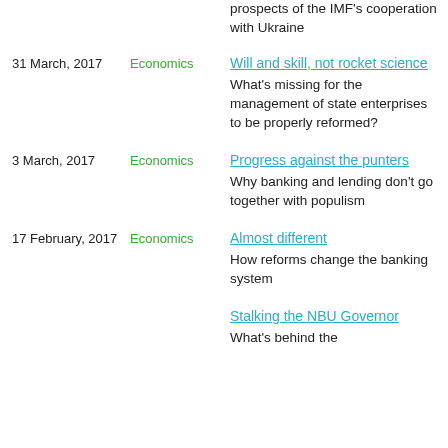prospects of the IMF's cooperation with Ukraine
31 March, 2017 | Economics | Will and skill, not rocket science | What's missing for the management of state enterprises to be properly reformed?
3 March, 2017 | Economics | Progress against the punters | Why banking and lending don't go together with populism
17 February, 2017 | Economics | Almost different | How reforms change the banking system
Stalking the NBU Governor | What's behind the